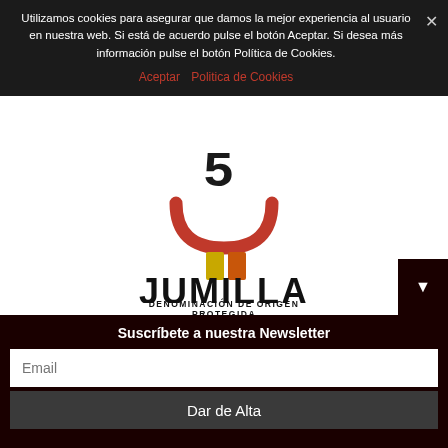Utilizamos cookies para asegurar que damos la mejor experiencia al usuario en nuestra web. Si está de acuerdo pulse el botón Aceptar. Si desea más información pulse el botón Política de Cookies.
Aceptar   Política de Cookies
[Figure (logo): Jumilla Denominación de Origen Protegida logo with red arc, yellow and orange rectangles, and bold black text JUMILLA DENOMINACIÓN DE ORIGEN PROTEGIDA]
¿Tienes más de 21 años de edad?
Sí   No
Suscríbete a nuestra Newsletter
Email
Dar de Alta